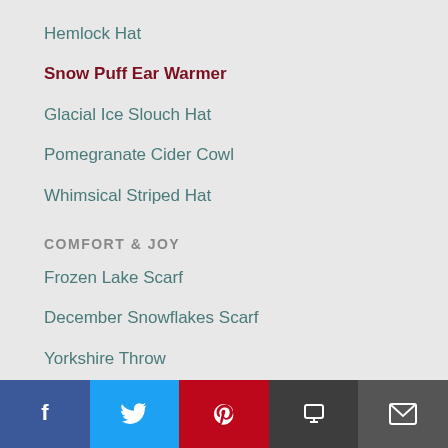Hemlock Hat
Snow Puff Ear Warmer
Glacial Ice Slouch Hat
Pomegranate Cider Cowl
Whimsical Striped Hat
COMFORT & JOY
Frozen Lake Scarf
December Snowflakes Scarf
Yorkshire Throw
Juniper Hooded Scarf
Blue Sage Hooded Shawl